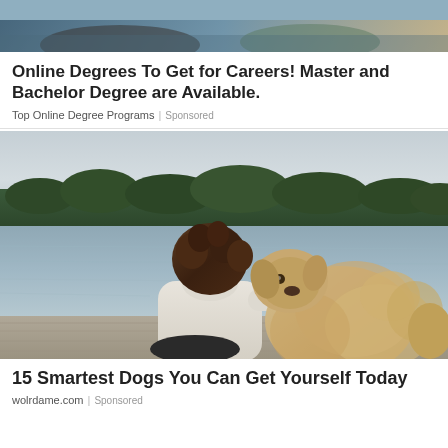[Figure (photo): Partial view of people outdoors, cropped at top of page]
Online Degrees To Get for Careers! Master and Bachelor Degree are Available.
Top Online Degree Programs | Sponsored
[Figure (photo): Person with curly hair sitting on a dock with a fluffy golden dog resting its head on their shoulder, overlooking a lake with forested shoreline in the background]
15 Smartest Dogs You Can Get Yourself Today
wolrdame.com | Sponsored